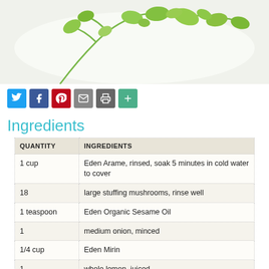[Figure (photo): Close-up photo of fresh green cilantro/herb leaves on white background]
[Figure (infographic): Social media sharing icons: Twitter (blue), Facebook (dark blue), Pinterest (red), Email (gray), Print (gray), More (green)]
Ingredients
| QUANTITY | INGREDIENTS |
| --- | --- |
| 1 cup | Eden Arame, rinsed, soak 5 minutes in cold water to cover |
| 18 | large stuffing mushrooms, rinse well |
| 1 teaspoon | Eden Organic Sesame Oil |
| 1 | medium onion, minced |
| 1/4 cup | Eden Mirin |
| 1 | whole lemon, juiced |
| 2 teaspoons | Eden Shoyu Soy Sauce |
| 1 teaspoon | fresh ginger root, grated, squeeze out |